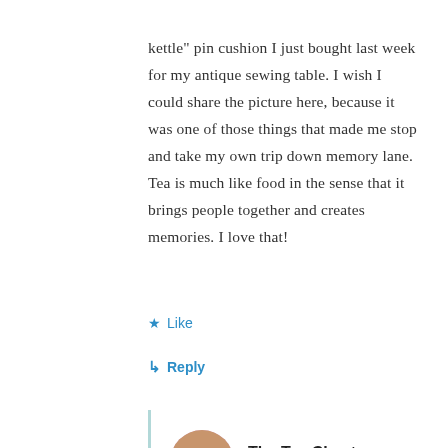kettle" pin cushion I just bought last week for my antique sewing table. I wish I could share the picture here, because it was one of those things that made me stop and take my own trip down memory lane. Tea is much like food in the sense that it brings people together and creates memories. I love that!
★ Like
↳ Reply
[Figure (photo): Circular avatar photo of The Tea Chest showing a basket with pink flowers]
The Tea Chest ♥
October 5, 2019 at 5:27 PM